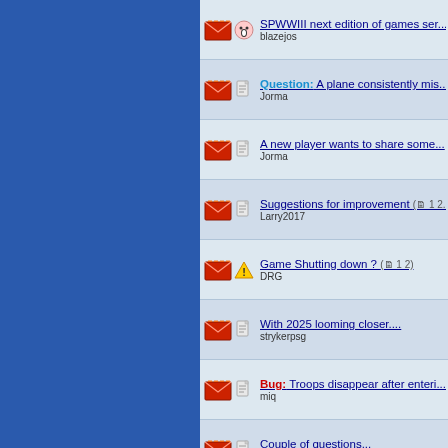SPWWIII next edition of games ser... | blazejos
Question: A plane consistently mis... | Jorma
A new player wants to share some... | Jorma
Suggestions for improvement (1 2...) | Larry2017
Game Shutting down ? (1 2) | DRG
With 2025 looming closer.... | strykerpsg
Bug: Troops disappear after enteri... | miq
Couple of questions... | Warhero
Trench raid, 21st century edition | Aeraaa
Bug: Abadan Peninsula Black Scre... | The_Think_Tanker
Cool clip (HAF) | Wdll
My Tank is "Damaged" | lansoar
Updates in light of Ukraine war (...) | FOARP